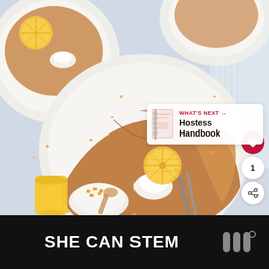[Figure (photo): Overhead food photography showing crepes on white plates topped with orange slices, whipped cream, and chopped nuts, with a jar of honey and a small bowl of nuts. UI overlay elements include a heart/like button, share button, count badge, and a 'What's Next - Hostess Handbook' recommendation card.]
[Figure (infographic): Dark advertisement banner reading 'SHE CAN STEM' in bold white text, with a logo on the right side.]